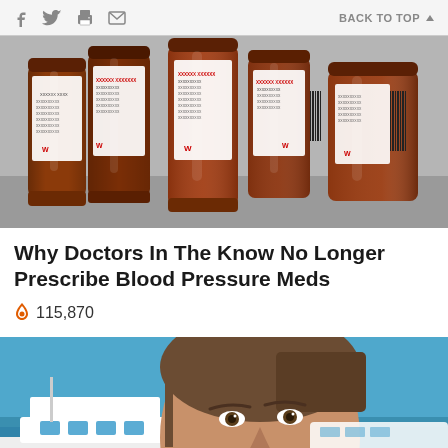f  [twitter]  [printer]  [mail]   BACK TO TOP ▲
[Figure (photo): Several amber prescription pill bottles arranged in a row on a gray surface, with pharmacy labels visible]
Why Doctors In The Know No Longer Prescribe Blood Pressure Meds
🔥 115,870
[Figure (photo): A man's face in the foreground with a large white yacht and blue water visible in the background]